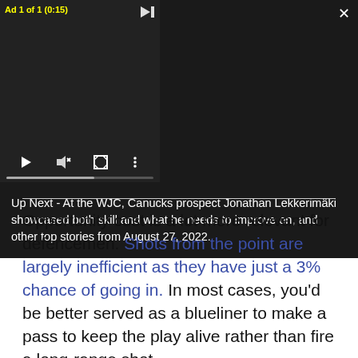[Figure (screenshot): Embedded video player showing an ad (Ad 1 of 1, 0:15) with playback controls on the left panel and 'Up Next' text on the right panel describing a story about Jonathan Lekkerimäki at the WJC from August 27, 2022.]
Opportunity cost is a lot more relevant for defencemen. Shots from the point are largely inefficient as they have just a 3% chance of going in. In most cases, you’d be better served as a blueliner to make a pass to keep the play alive rather than fire a long-range shot.
The problem as you’ll recall is that the existing